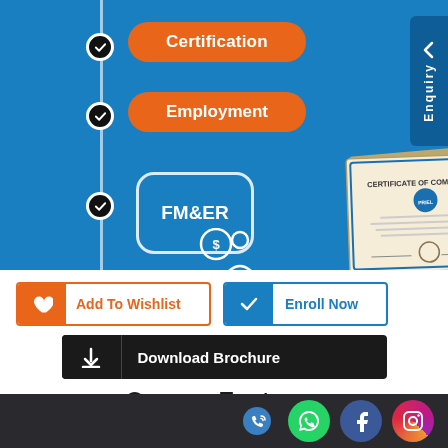[Figure (infographic): Blue background section showing a course progression timeline with checkmark circles on a vertical line, orange rounded buttons for Certification and Employment, FM&ER box with icon, and a certificate of completion image]
Certification
Employment
FM&ER
[Figure (illustration): Certificate of Completion document shown at an angle]
[Figure (other): Enquiry side tab on the right edge]
[Figure (other): Add To Wishlist button with heart icon in orange]
[Figure (other): Enroll Now button with checkmark in blue]
[Figure (other): Download Brochure button with download icon on black background]
Course Features
[Figure (other): Light gray course features section with partial circular icon visible at bottom]
Social media icons: phone, WhatsApp, Facebook, Instagram